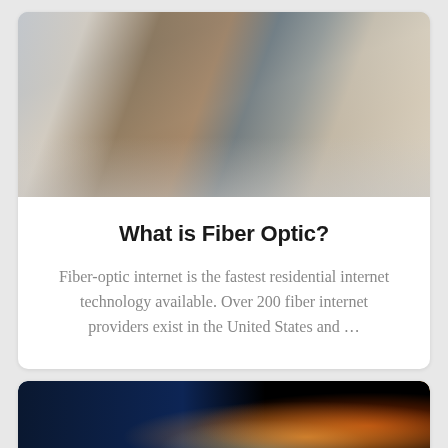[Figure (photo): Person in plaid shirt typing on laptop at desk with books and coffee cup]
What is Fiber Optic?
Fiber-optic internet is the fastest residential internet technology available. Over 200 fiber internet providers exist in the United States and …
[Figure (photo): Fiber optic cables glowing with colorful light on dark blue background]